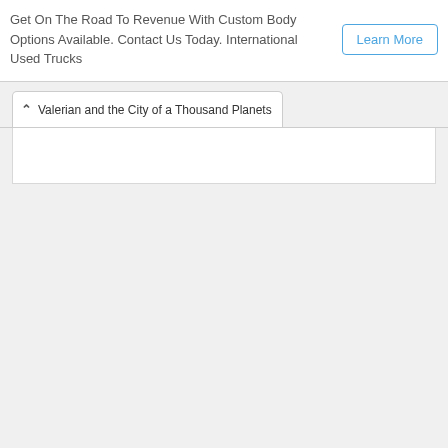Get On The Road To Revenue With Custom Body Options Available. Contact Us Today. International Used Trucks
Learn More
Valerian and the City of a Thousand Planets